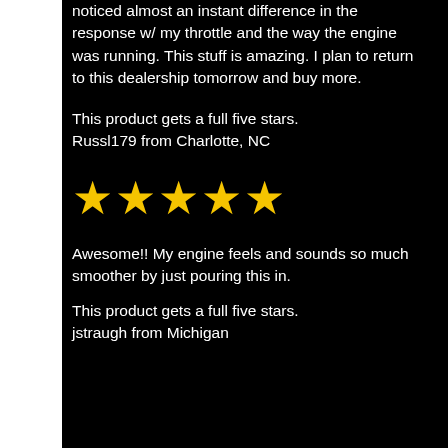noticed almost an instant difference in the response w/ my throttle and the way the engine was running. This stuff is amazing. I plan to return to this dealership tomorrow and buy more.
This product gets a full five stars.
Russl179 from Charlotte, NC
[Figure (other): Five gold star rating symbols]
Awesome!! My engine feels and sounds so much smoother by just pouring this in.
This product gets a full five stars.
jstraugh from Michigan